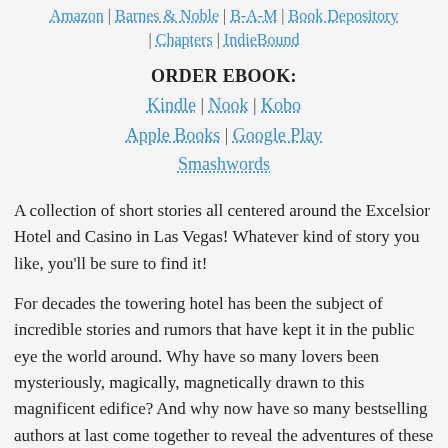Amazon | Barnes & Noble | B-A-M | Book Depository | Chapters | IndieBound
ORDER EBOOK:
Kindle | Nook | Kobo Apple Books | Google Play Smashwords
A collection of short stories all centered around the Excelsior Hotel and Casino in Las Vegas! Whatever kind of story you like, you'll be sure to find it!
For decades the towering hotel has been the subject of incredible stories and rumors that have kept it in the public eye the world around. Why have so many lovers been mysteriously, magically, magnetically drawn to this magnificent edifice? And why now have so many bestselling authors at last come together to reveal the adventures of these lovers who have